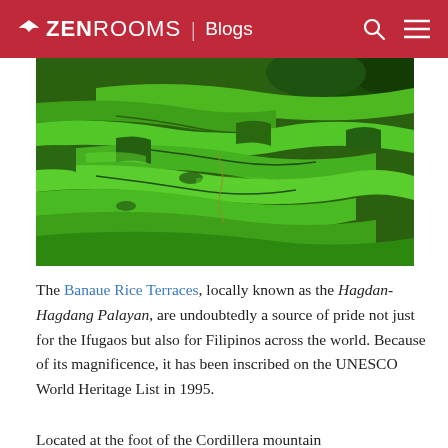ZEN ROOMS | Blogs
[Figure (photo): Aerial view of the Banaue Rice Terraces (Hagdan-Hagdang Palayan), lush green terraced rice paddies carved into mountain slopes in the Philippines.]
The Banaue Rice Terraces, locally known as the Hagdan-Hagdang Palayan, are undoubtedly a source of pride not just for the Ifugaos but also for Filipinos across the world. Because of its magnificence, it has been inscribed on the UNESCO World Heritage List in 1995.
Located at the foot of the Cordillera mountain